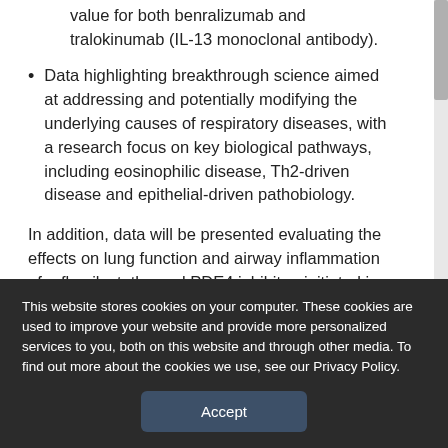value for both benralizumab and tralokinumab (IL-13 monoclonal antibody).
Data highlighting breakthrough science aimed at addressing and potentially modifying the underlying causes of respiratory diseases, with a research focus on key biological pathways, including eosinophilic disease, Th2-driven disease and epithelial-driven pathobiology.
In addition, data will be presented evaluating the effects on lung function and airway inflammation of roflumilast, the oral PDE4 inhibitor, initiated in addition to standard therapy with corticosteroids and antibiotics at the onset
This website stores cookies on your computer. These cookies are used to improve your website and provide more personalized services to you, both on this website and through other media. To find out more about the cookies we use, see our Privacy Policy.